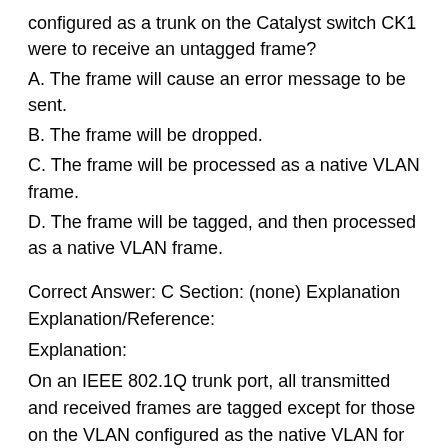configured as a trunk on the Catalyst switch CK1 were to receive an untagged frame?
A. The frame will cause an error message to be sent.
B. The frame will be dropped.
C. The frame will be processed as a native VLAN frame.
D. The frame will be tagged, and then processed as a native VLAN frame.
Correct Answer: C Section: (none) Explanation Explanation/Reference:
Explanation:
On an IEEE 802.1Q trunk port, all transmitted and received frames are tagged except for those on the VLAN configured as the native VLAN for the port. Frames on the native VLAN are always transmitted